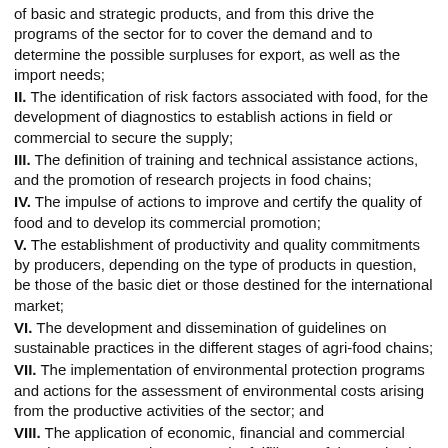of basic and strategic products, and from this drive the programs of the sector for to cover the demand and to determine the possible surpluses for export, as well as the import needs;
II. The identification of risk factors associated with food, for the development of diagnostics to establish actions in field or commercial to secure the supply;
III. The definition of training and technical assistance actions, and the promotion of research projects in food chains;
IV. The impulse of actions to improve and certify the quality of food and to develop its commercial promotion;
V. The establishment of productivity and quality commitments by producers, depending on the type of products in question, be those of the basic diet or those destined for the international market;
VI. The development and dissemination of guidelines on sustainable practices in the different stages of agri-food chains;
VII. The implementation of environmental protection programs and actions for the assessment of environmental costs arising from the productive activities of the sector; and
VIII. The application of economic, financial and commercial certainty measures that ensure the fulfillment of the productive programs agri-food referred to in Article 180.